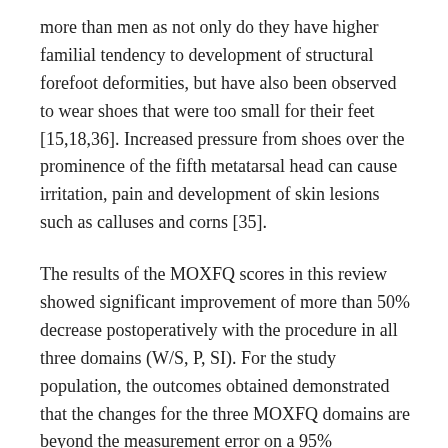more than men as not only do they have higher familial tendency to development of structural forefoot deformities, but have also been observed to wear shoes that were too small for their feet [15,18,36]. Increased pressure from shoes over the prominence of the fifth metatarsal head can cause irritation, pain and development of skin lesions such as calluses and corns [35].
The results of the MOXFQ scores in this review showed significant improvement of more than 50% decrease postoperatively with the procedure in all three domains (W/S, P, SI). For the study population, the outcomes obtained demonstrated that the changes for the three MOXFQ domains are beyond the measurement error on a 95% confidence level hence can be interpreted as true changes.